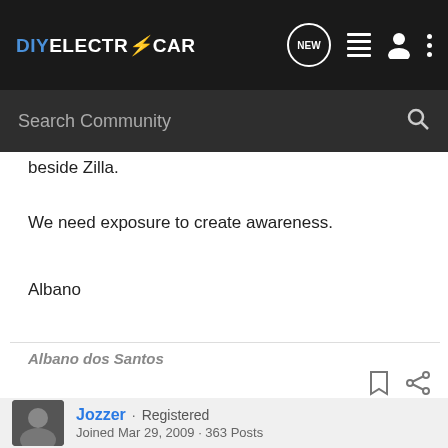DIYELECTRiCCAR — navigation bar with NEW, list, user, and more icons
Search Community
beside Zilla.
We need exposure to create awareness.
Albano
Albano dos Santos
Jozzer · Registered
Joined Mar 29, 2009 · 363 Posts